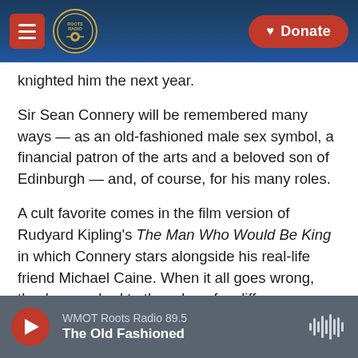[Figure (screenshot): Website navigation bar with hamburger menu (red), Roots Radio logo (circular badge), and Donate button (red, heart icon) on a dark blue background with guitar imagery]
knighted him the next year.
Sir Sean Connery will be remembered many ways — as an old-fashioned male sex symbol, a financial patron of the arts and a beloved son of Edinburgh — and, of course, for his many roles.
A cult favorite comes in the film version of Rudyard Kipling's The Man Who Would Be King in which Connery stars alongside his real-life friend Michael Caine. When it all goes wrong, they're marched to the edge of a cliff.
WMOT Roots Radio 89.5 — The Old Fashioned